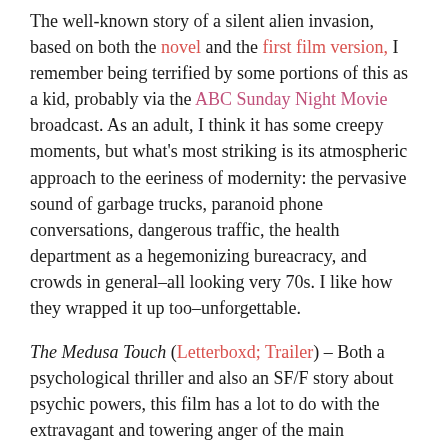The well-known story of a silent alien invasion, based on both the novel and the first film version, I remember being terrified by some portions of this as a kid, probably via the ABC Sunday Night Movie broadcast. As an adult, I think it has some creepy moments, but what's most striking is its atmospheric approach to the eeriness of modernity: the pervasive sound of garbage trucks, paranoid phone conversations, dangerous traffic, the health department as a hegemonizing bureacracy, and crowds in general–all looking very 70s. I like how they wrapped it up too–unforgettable.
The Medusa Touch (Letterboxd; Trailer) – Both a psychological thriller and also an SF/F story about psychic powers, this film has a lot to do with the extravagant and towering anger of the main character, and it's a good role for Richard Burton–not many actors could make an allegory about narcissism as watchable. Apparently the novel the